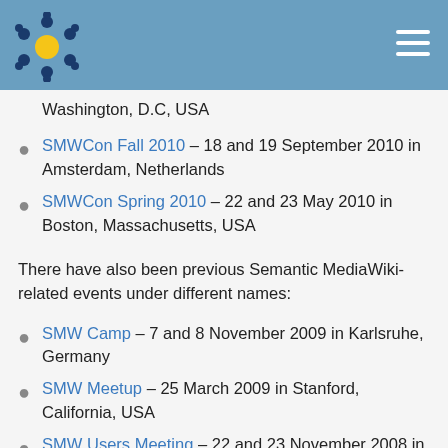Washington, D.C, USA
SMWCon Fall 2010 – 18 and 19 September 2010 in Amsterdam, Netherlands
SMWCon Spring 2010 – 22 and 23 May 2010 in Boston, Massachusetts, USA
There have also been previous Semantic MediaWiki-related events under different names:
SMW Camp – 7 and 8 November 2009 in Karlsruhe, Germany
SMW Meetup – 25 March 2009 in Stanford, California, USA
SMW Users Meeting – 22 and 23 November 2008 in Boston, Massachusets, USA